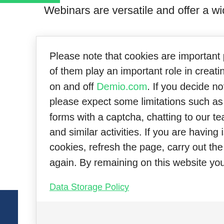Webinars are versatile and offer a wide range
Please note that cookies are important parts of our website and all of them play an important role in creating a great experience for you on and off Demio.com. If you decide not to opt into all cookies, please expect some limitations such as having difficulty submitting forms with a captcha, chatting to our team through the help widget, and similar activities. If you are having issues, you can enable all cookies, refresh the page, carry out the task and disable cookies again. By remaining on this website you indicate your consent.
Data Storage Policy